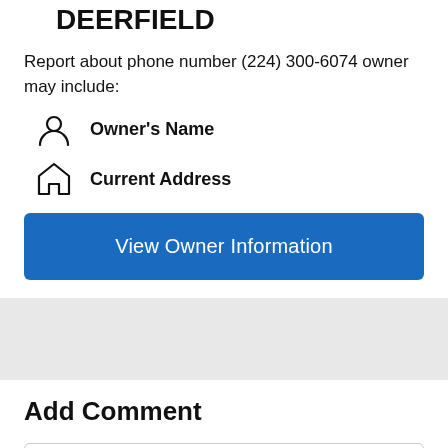DEERFIELD
Report about phone number (224) 300-6074 owner may include:
Owner's Name
Current Address
View Owner Information
Add Comment
Got a call or text message from 224-300-6074?